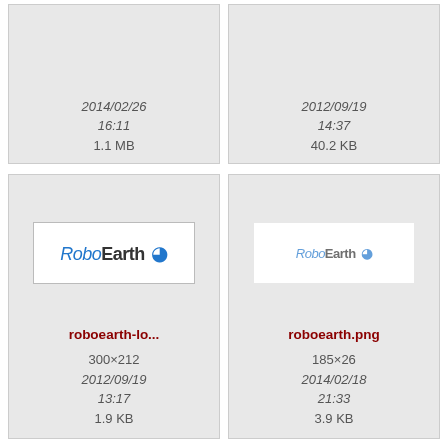[Figure (other): File thumbnail top-left (partial, cropped), showing date 2014/02/26 16:11, size 1.1 MB]
[Figure (other): File thumbnail top-right (partial, cropped), showing date 2012/09/19 14:37, size 40.2 KB]
[Figure (screenshot): File thumbnail for roboearth-lo... showing RoboEarth logo, 300x212, 2012/09/19 13:17, 1.9 KB]
[Figure (screenshot): File thumbnail for roboearth.png showing faded RoboEarth logo, 185x26, 2014/02/18 21:33, 3.9 KB]
[Figure (screenshot): File thumbnail for rs_acat_poi... showing hardware board with colored buttons, 1219x305]
[Figure (screenshot): File thumbnail for rs_acat_tabl... showing hardware control panel, 1104x619]